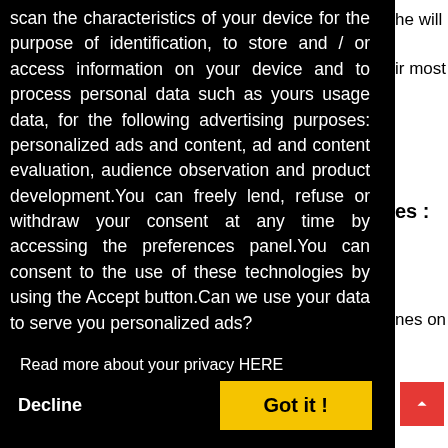scan the characteristics of your device for the purpose of identification, to store and / or access information on your device and to process personal data such as yours usage data, for the following advertising purposes: personalized ads and content, ad and content evaluation, audience observation and product development.You can freely lend, refuse or withdraw your consent at any time by accessing the preferences panel.You can consent to the use of these technologies by using the Accept button.Can we use your data to serve you personalized ads?
Read more about your privacy HERE
Decline
Got it !